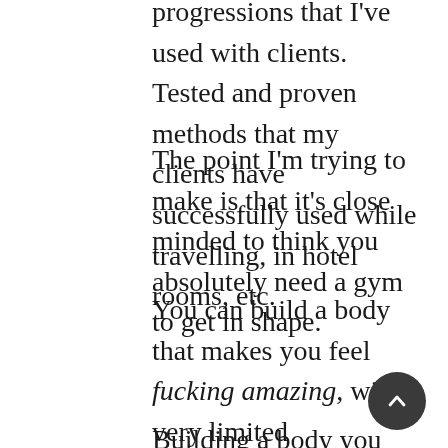progressions that I've used with clients. Tested and proven methods that my clients have successfully used while travelling, in hotel rooms, etc.
The point I'm trying to make is that it's close minded to think you absolutely need a gym to get in shape.
You can build a body that makes you feel fucking amazing, with very limited equipment.
Building a body you love to see in the mirror, feeling strong and capable of handling yourself, it's a feeling most